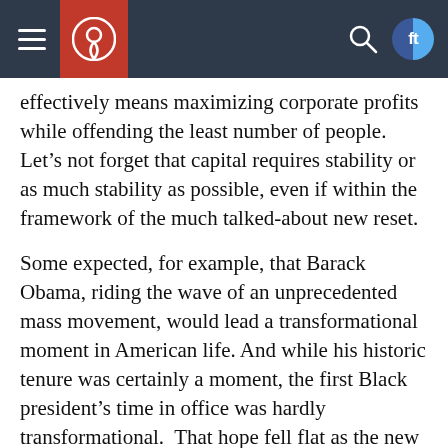[Navigation bar with hamburger menu, site logo, search icon, and social media icon]
effectively means maximizing corporate profits while offending the least number of people. Let’s not forget that capital requires stability or as much stability as possible, even if within the framework of the much talked-about new reset.
Some expected, for example, that Barack Obama, riding the wave of an unprecedented mass movement, would lead a transformational moment in American life. And while his historic tenure was certainly a moment, the first Black president’s time in office was hardly transformational.  That hope fell flat as the new president came face-to-face with stiff reality, even before the 2010 midterms, but particularly after the Tea Party backlash. Expectations that Obama might, after leaving office, employ his